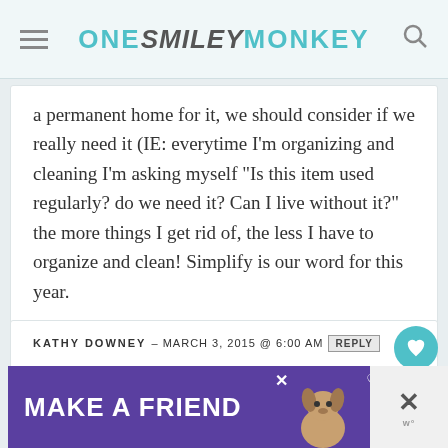ONE SMILEY MONKEY
a permanent home for it, we should consider if we really need it (IE: everytime I’m organizing and cleaning I’m asking myself “Is this item used regularly? do we need it? Can I live without it?” the more things I get rid of, the less I have to organize and clean! Simplify is our word for this year.
KATHY DOWNEY – MARCH 3, 2015 @ 6:00 AM REPLY
My pet peeve is dirty dishes in the